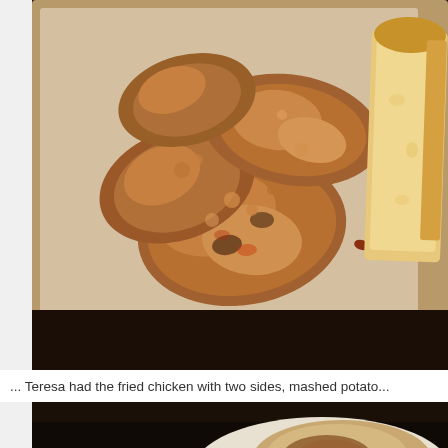[Figure (photo): Fried chicken pieces with a slice of bread on parchment paper in a tray, viewed from above on a dark wooden surface.]
...  Teresa had the fried chicken with two sides, mashed potato...
[Figure (photo): Partial view of a plate with mashed potatoes and gravy on a dark surface.]